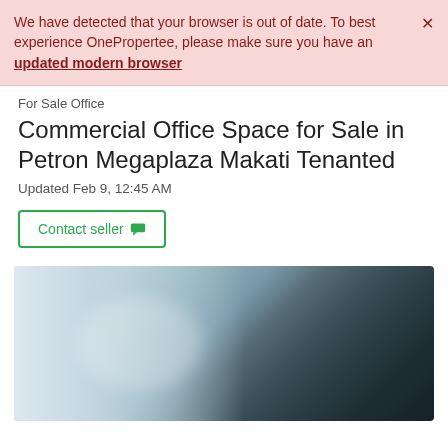We have detected that your browser is out of date. To best experience OnePropertee, please make sure you have an updated modern browser
For Sale Office
Commercial Office Space for Sale in Petron Megaplaza Makati Tenanted
Updated Feb 9, 12:45 AM
Contact seller
[Figure (photo): Blurred interior photo of a commercial office space, showing glass partitions and dark furniture in the background]